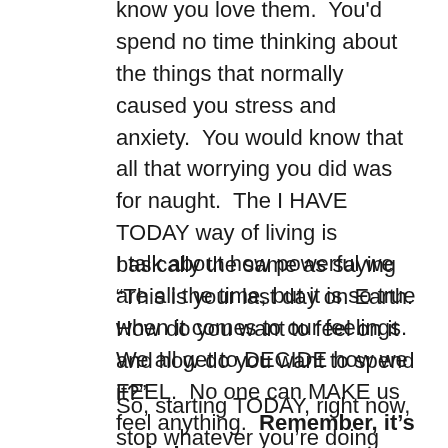know you love them.  You'd spend no time thinking about the things that normally caused you stress and anxiety.  You would know that all that worrying you did was for naught.  The I HAVE TODAY way of living is basically the same as saying “This is your last day on Earth.  How do you want to feel on it and how do you want to spend it?”
I talk about how powerful we are all the time, but it is so true when it comes to our feelings.  We all get to DECIDE how we FEEL.  No one can MAKE us feel anything.  Remember, it’s a choice.
So, starting TODAY, right now, stop whatever you’re doing and think for a moment.  Are you